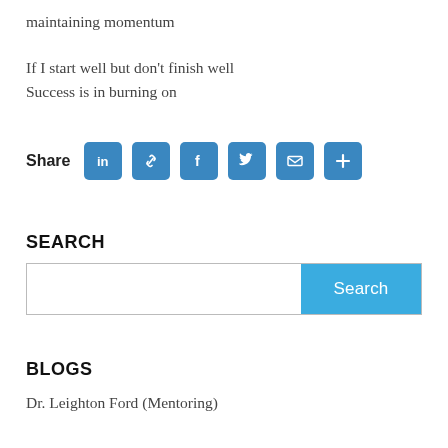maintaining momentum
If I start well but don't finish well
Success is in burning on
[Figure (infographic): Share buttons row: LinkedIn, link/chain, Facebook, Twitter, email, and plus icon — all in blue rounded square buttons]
SEARCH
[Figure (screenshot): Search input bar with a blue Search button on the right]
BLOGS
Dr. Leighton Ford (Mentoring)